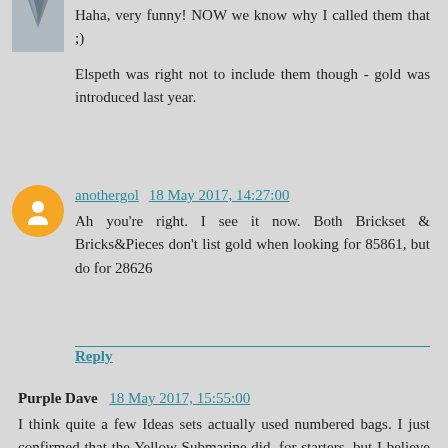Haha, very funny! NOW we know why I called them that ;)
Elspeth was right not to include them though - gold was introduced last year.
anothergol 18 May 2017, 14:27:00
Ah you're right. I see it now. Both Brickset & Bricks&Pieces don't list gold when looking for 85861, but do for 28626
Reply
Purple Dave 18 May 2017, 15:55:00
I think quite a few Ideas sets actually used numbered bags. I just confirmed that the Yellow Submarine did, for starters, but I believe both TBBT and Doctor Who had them. Probably not as many (2-3), but still numbered.